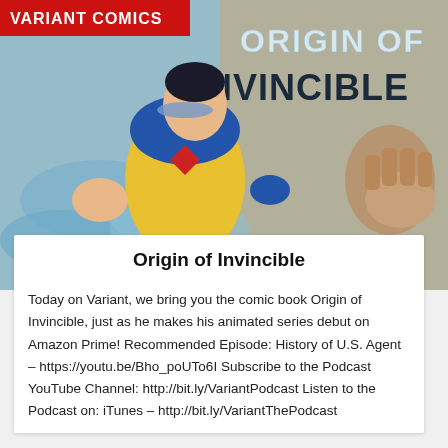[Figure (illustration): Comic book cover art showing Invincible superhero in yellow and blue costume flying with fist raised, text 'ORIGIN OF INVINCIBLE' in large letters, Variant Comics logo in red top left corner, map-like background with another character visible on right]
Origin of Invincible
Today on Variant, we bring you the comic book Origin of Invincible, just as he makes his animated series debut on Amazon Prime! Recommended Episode: History of U.S. Agent – https://youtu.be/Bho_poUTo6I Subscribe to the Podcast YouTube Channel: http://bit.ly/VariantPodcast Listen to the Podcast on: iTunes – http://bit.ly/VariantThePodcast